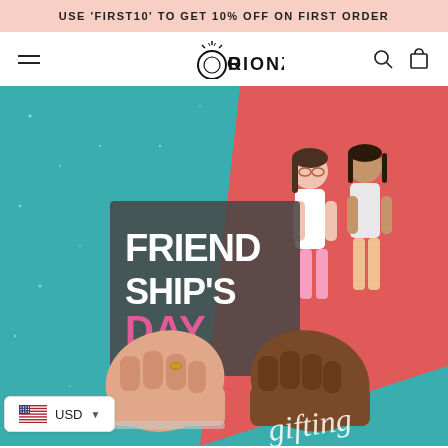USE 'FIRST10' TO GET 10% OFF ON FIRST ORDER
[Figure (logo): Orionz jewelry brand logo with ring and sparkle icon]
[Figure (illustration): Friendship Day promotional banner with two illustrated women and two fists bumping, bold text reading FRIEND SHIP'S DAY, and script text reading gifting]
USD (currency selector widget with US flag)